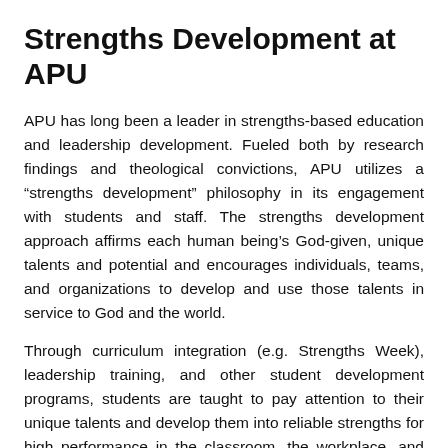Strengths Development at APU
APU has long been a leader in strengths-based education and leadership development. Fueled both by research findings and theological convictions, APU utilizes a “strengths development” philosophy in its engagement with students and staff. The strengths development approach affirms each human being’s God-given, unique talents and potential and encourages individuals, teams, and organizations to develop and use those talents in service to God and the world.
Through curriculum integration (e.g. Strengths Week), leadership training, and other student development programs, students are taught to pay attention to their unique talents and develop them into reliable strengths for high performance in the classroom, the workplace, and life. Utilizing the Gallup Organization’s CliftonStrengths assessment, students are shown their top five talent themes…